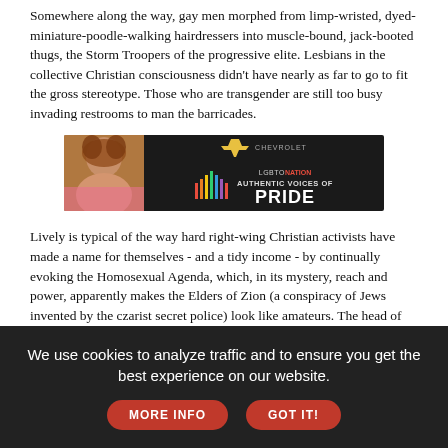Somewhere along the way, gay men morphed from limp-wristed, dyed-miniature-poodle-walking hairdressers into muscle-bound, jack-booted thugs, the Storm Troopers of the progressive elite. Lesbians in the collective Christian consciousness didn't have nearly as far to go to fit the gross stereotype. Those who are transgender are still too busy invading restrooms to man the barricades.
[Figure (photo): Advertisement banner: Chevrolet logo and LGBTQ Nation 'Authentic Voices of Pride' ad with colorful sound wave graphic and a person with curly hair on dark background]
Lively is typical of the way hard right-wing Christian activists have made a name for themselves - and a tidy income - by continually evoking the Homosexual Agenda, which, in its mystery, reach and power, apparently makes the Elders of Zion (a conspiracy of Jews invented by the czarist secret police) look like amateurs. The head of Abiding Truth Ministries, he was instrumental in nearly pushing through the Ugandan legislature a law that would have mandated the death penalty for practicing homosexuals. He is currently
We use cookies to analyze traffic and to ensure you get the best experience on our website.